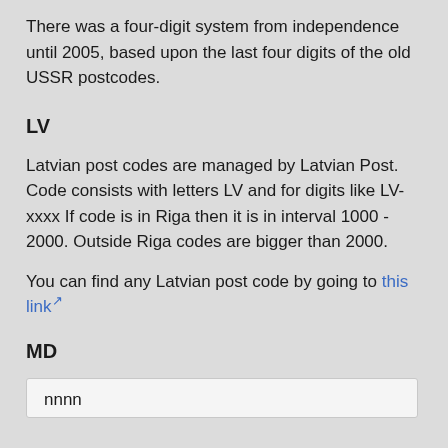There was a four-digit system from independence until 2005, based upon the last four digits of the old USSR postcodes.
LV
Latvian post codes are managed by Latvian Post. Code consists with letters LV and for digits like LV-xxxx If code is in Riga then it is in interval 1000 - 2000. Outside Riga codes are bigger than 2000.
You can find any Latvian post code by going to this link
MD
| nnnn |